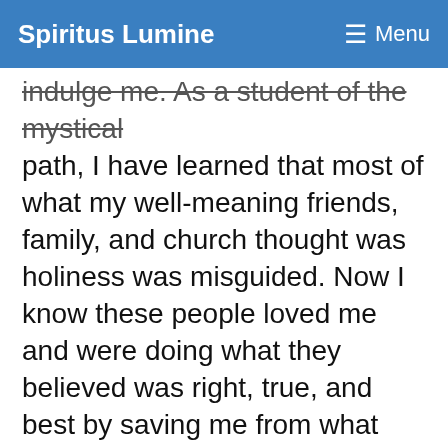Spiritus Lumine  ☰ Menu
indulge me. As a student of the mystical path, I have learned that most of what my well-meaning friends, family, and church thought was holiness was misguided. Now I know these people loved me and were doing what they believed was right, true, and best by saving me from what they thought would be eternal suffering imposed on me by an angry, wrathful God if I did not follow their understanding of his teachings. I can love them for that. But regardless of their intentions, their interpretations of the Divine were deeply rooted in fear of eternal punishment than helping me discover my true nature and who I was created to be. Perhaps you, too, identify with what I call